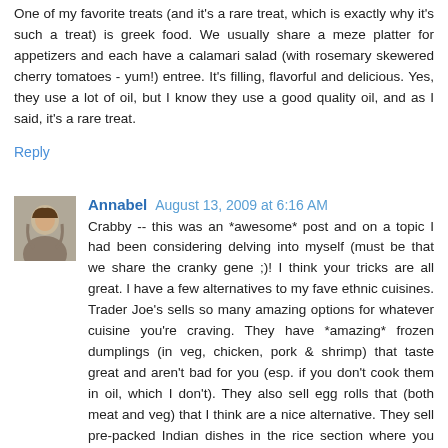One of my favorite treats (and it's a rare treat, which is exactly why it's such a treat) is greek food. We usually share a meze platter for appetizers and each have a calamari salad (with rosemary skewered cherry tomatoes - yum!) entree. It's filling, flavorful and delicious. Yes, they use a lot of oil, but I know they use a good quality oil, and as I said, it's a rare treat.
Reply
Annabel  August 13, 2009 at 6:16 AM
Crabby -- this was an *awesome* post and on a topic I had been considering delving into myself (must be that we share the cranky gene ;)! I think your tricks are all great. I have a few alternatives to my fave ethnic cuisines. Trader Joe's sells so many amazing options for whatever cuisine you're craving. They have *amazing* frozen dumplings (in veg, chicken, pork & shrimp) that taste great and aren't bad for you (esp. if you don't cook them in oil, which I don't). They also sell egg rolls that (both meat and veg) that I think are a nice alternative. They sell pre-packed Indian dishes in the rice section where you simply heat up the contents and